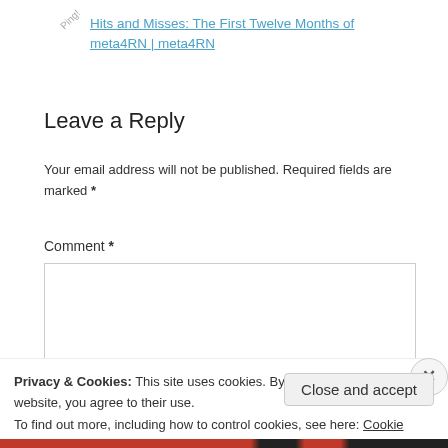Ping!
Hits and Misses: The First Twelve Months of meta4RN | meta4RN
Leave a Reply
Your email address will not be published. Required fields are marked *
Comment *
Privacy & Cookies: This site uses cookies. By continuing to use this website, you agree to their use.
To find out more, including how to control cookies, see here: Cookie Policy
Close and accept